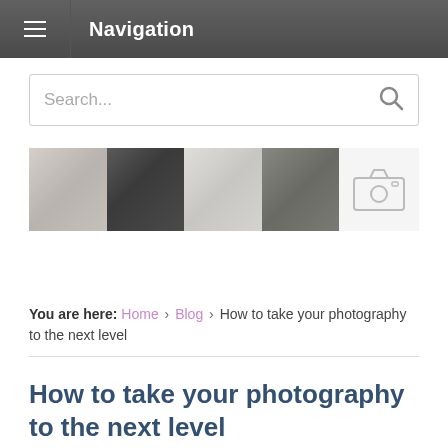Navigation
[Figure (screenshot): Search bar with placeholder text 'Search...' and a magnifying glass icon on the right]
[Figure (photo): Strip of four black and white thumbnail photos followed by a camera icon placeholder]
You are here: Home › Blog › How to take your photography to the next level
How to take your photography to the next level